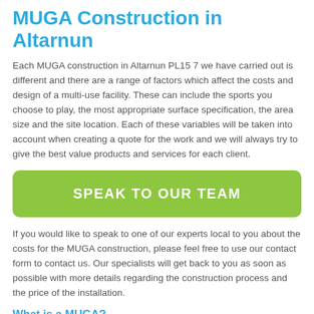MUGA Construction in Altarnun
Each MUGA construction in Altarnun PL15 7 we have carried out is different and there are a range of factors which affect the costs and design of a multi-use facility. These can include the sports you choose to play, the most appropriate surface specification, the area size and the site location. Each of these variables will be taken into account when creating a quote for the work and we will always try to give the best value products and services for each client.
[Figure (other): Green rounded button with white bold text reading SPEAK TO OUR TEAM]
If you would like to speak to one of our experts local to you about the costs for the MUGA construction, please feel free to use our contact form to contact us. Our specialists will get back to you as soon as possible with more details regarding the construction process and the price of the installation.
What is a MUGA?